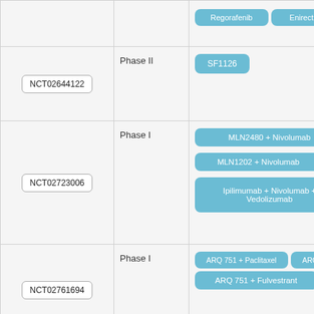| NCT ID | Phase | Drugs |
| --- | --- | --- |
| (top row cut off) |  | Regorafenib | Enirectinib |
| NCT02644122 | Phase II | SF1126 |
| NCT02723006 | Phase I | MLN2480 + Nivolumab | MLN1202 + Nivolumab | Ipilimumab + Nivolumab + Vedolizumab |
| NCT02761694 | Phase I | ARQ 751 + Paclitaxel | ARQ 751 [cut off] | ARQ 751 + Fulvestrant |
| NCT02818023 | Phase I | Cobimetinib + Pembrolizumab + Vemurafenib |
| NCT02939458 (partial) | Phase (partial) | Cobimetinib + Carboplatin + P... (partial) |